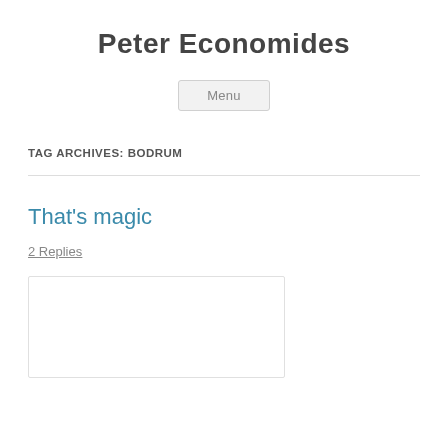Peter Economides
Menu
TAG ARCHIVES: BODRUM
That's magic
2 Replies
[Figure (photo): A partially visible image placeholder at the bottom of the page]